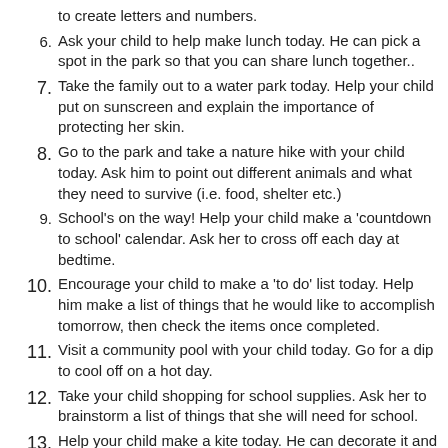to create letters and numbers.
6. Ask your child to help make lunch today. He can pick a spot in the park so that you can share lunch together..
7. Take the family out to a water park today. Help your child put on sunscreen and explain the importance of protecting her skin.
8. Go to the park and take a nature hike with your child today. Ask him to point out different animals and what they need to survive (i.e. food, shelter etc.)
9. School's on the way! Help your child make a 'countdown to school' calendar. Ask her to cross off each day at bedtime.
10. Encourage your child to make a 'to do' list today. Help him make a list of things that he would like to accomplish tomorrow, then check the items once completed.
11. Visit a community pool with your child today. Go for a dip to cool off on a hot day.
12. Take your child shopping for school supplies. Ask her to brainstorm a list of things that she will need for school.
13. Help your child make a kite today. He can decorate it and fly it at the park.
14. ...